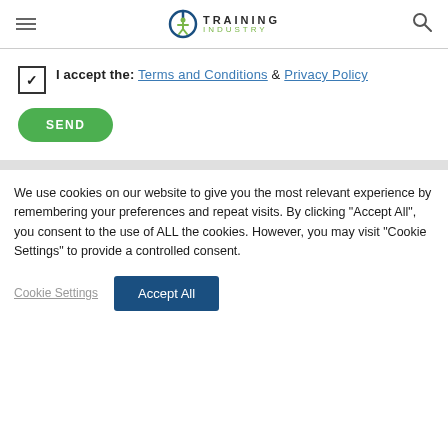Training Industry — navigation header with hamburger menu, logo, and search icon
I accept the: Terms and Conditions & Privacy Policy
SEND
We use cookies on our website to give you the most relevant experience by remembering your preferences and repeat visits. By clicking "Accept All", you consent to the use of ALL the cookies. However, you may visit "Cookie Settings" to provide a controlled consent.
Cookie Settings | Accept All